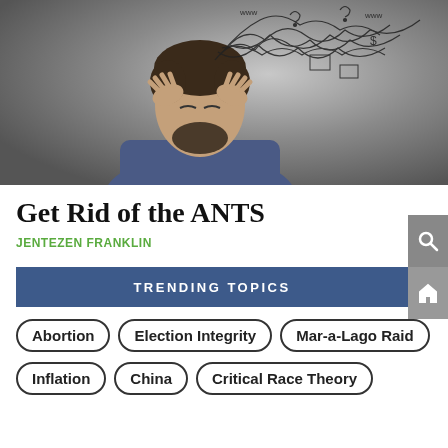[Figure (photo): A stressed man holding his head with both hands, eyes closed, with chaotic scribbled lines and symbols emanating from his head against a gray background.]
Get Rid of the ANTS
JENTEZEN FRANKLIN
TRENDING TOPICS
Abortion
Election Integrity
Mar-a-Lago Raid
Inflation
China
Critical Race Theory